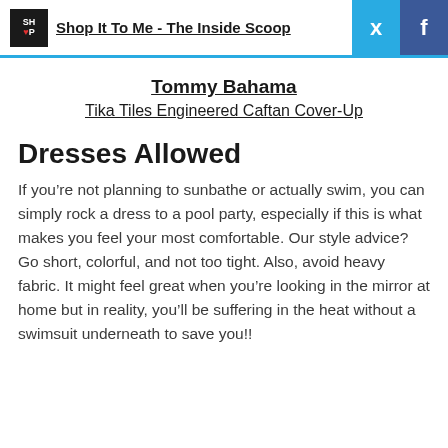Shop It To Me - The Inside Scoop
Tommy Bahama
Tika Tiles Engineered Caftan Cover-Up
Dresses Allowed
If you’re not planning to sunbathe or actually swim, you can simply rock a dress to a pool party, especially if this is what makes you feel your most comfortable. Our style advice? Go short, colorful, and not too tight. Also, avoid heavy fabric. It might feel great when you’re looking in the mirror at home but in reality, you’ll be suffering in the heat without a swimsuit underneath to save you!!